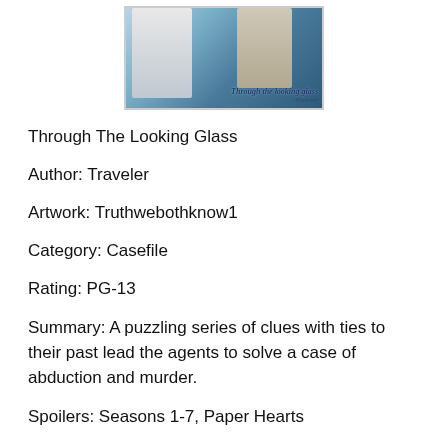[Figure (illustration): Cover artwork for 'Through the Looking Glass' by Traveler, showing two figures against a blue background with the story title and author name overlaid in stylized text.]
Through The Looking Glass
Author: Traveler
Artwork: Truthwebothknow1
Category: Casefile
Rating: PG-13
Summary: A puzzling series of clues with ties to their past lead the agents to solve a case of abduction and murder.
Spoilers: Seasons 1-7, Paper Hearts